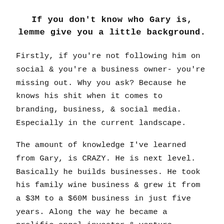If you don't know who Gary is, lemme give you a little background.
Firstly, if you're not following him on social & you're a business owner- you're missing out. Why you ask? Because he knows his shit when it comes to branding, business, & social media. Especially in the current landscape.
The amount of knowledge I've learned from Gary, is CRAZY. He is next level. Basically he builds businesses. He took his family wine business & grew it from a $3M to a $60M business in just five years. Along the way he became a prolific angel investor & venture